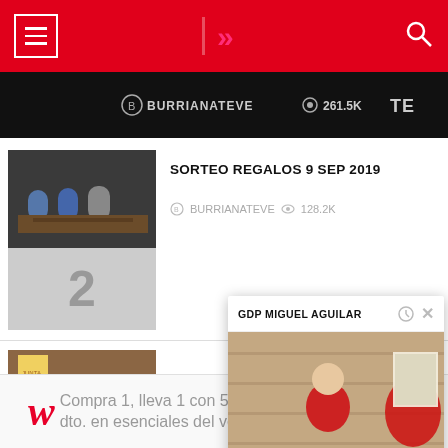Navigation header with hamburger menu, logo, and search icon
[Figure (screenshot): Dark video thumbnail showing BURRIANATEVE with 261.5K views text overlay]
[Figure (screenshot): Thumbnail image of people sitting at table for item 2]
SORTEO REGALOS 9 SEP 2019
BURRIANATEVE  128.2K
[Figure (screenshot): Thumbnail image of crowd for item 3]
GDP MIGUEL AGUILAR
[Figure (screenshot): Video popup showing man in red jacket, GDP MIGUEL AGUILAR popup panel]
[Figure (screenshot): Advertisement banner: Compra 1, lleva 1 con 50% dto. en esenciales del verano - Walgreens]